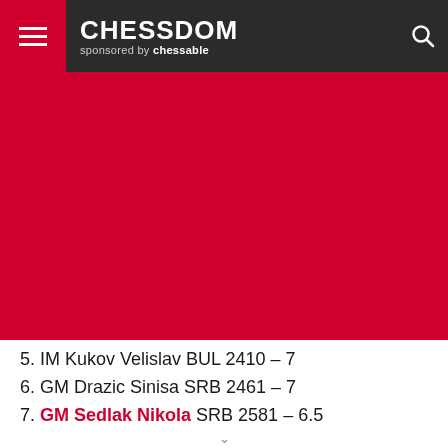CHESSDOM sponsored by chessable
[Figure (photo): Large crimson/red background image area below the header navigation bar]
5. IM Kukov Velislav BUL 2410 – 7
6. GM Drazic Sinisa SRB 2461 – 7
7. GM Sedlak Nikola SRB 2581 – 6.5